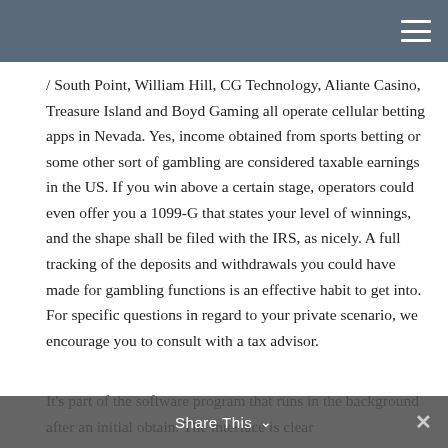/ South Point, William Hill, CG Technology, Aliante Casino, Treasure Island and Boyd Gaming all operate cellular betting apps in Nevada. Yes, income obtained from sports betting or some other sort of gambling are considered taxable earnings in the US. If you win above a certain stage, operators could even offer you a 1099-G that states your level of winnings, and the shape shall be filed with the IRS, as nicely. A full tracking of the deposits and withdrawals you could have made for gambling functions is an effective habit to get into. For specific questions in regard to your private scenario, we encourage you to consult with a tax advisor.
It's part of the software program that runs in the background after an initial obtain. The interface is clear
Share This